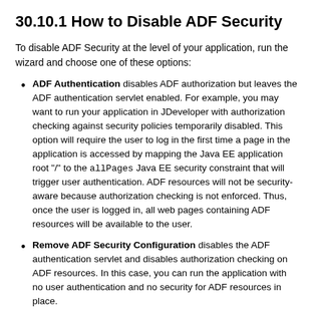30.10.1 How to Disable ADF Security
To disable ADF Security at the level of your application, run the wizard and choose one of these options:
ADF Authentication disables ADF authorization but leaves the ADF authentication servlet enabled. For example, you may want to run your application in JDeveloper with authorization checking against security policies temporarily disabled. This option will require the user to log in the first time a page in the application is accessed by mapping the Java EE application root "/" to the allPages Java EE security constraint that will trigger user authentication. ADF resources will not be security-aware because authorization checking is not enforced. Thus, once the user is logged in, all web pages containing ADF resources will be available to the user.
Remove ADF Security Configuration disables the ADF authentication servlet and disables authorization checking on ADF resources. In this case, you can run the application with no user authentication and no security for ADF resources in place.
You may select either option with the intention of reenabling ADF Security